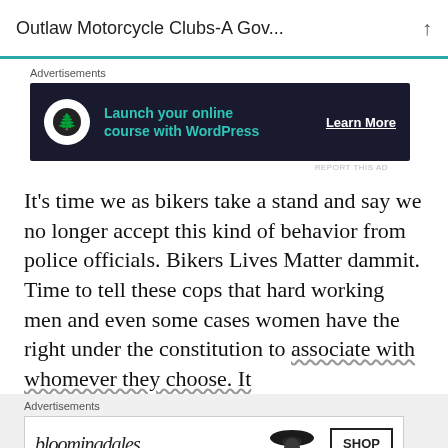Outlaw Motorcycle Clubs-A Gov...
[Figure (screenshot): Advertisement banner: dark background with bonsai tree icon, teal text 'Launch your online course with WordPress', white 'Learn More' link]
It's time we as bikers take a stand and say we no longer accept this kind of behavior from police officials. Bikers Lives Matter dammit. Time to tell these cops that hard working men and even some cases women have the right under the constitution to associate with whomever they choose. It
[Figure (screenshot): Bloomingdale's advertisement: logo with cursive text, 'View Today's Top Deals!', image of woman in hat, 'SHOP NOW >' button]